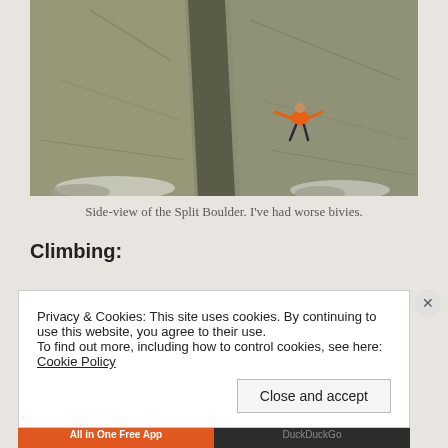[Figure (photo): Side-view of two large granite boulders split apart with a person in an orange jacket climbing the rock face between them, snow visible on the ground.]
Side-view of the Split Boulder. I've had worse bivies.
Climbing:
Privacy & Cookies: This site uses cookies. By continuing to use this website, you agree to their use.
To find out more, including how to control cookies, see here: Cookie Policy
Close and accept